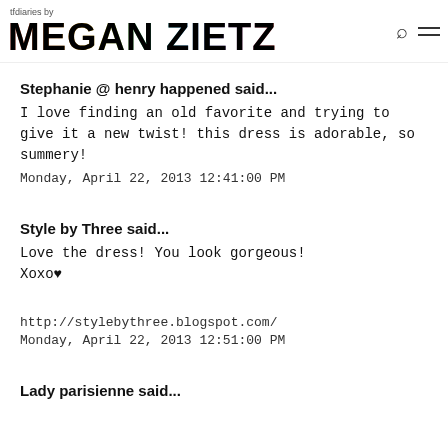tfdiaries by MEGAN ZIETZ
Stephanie @ henry happened said...
I love finding an old favorite and trying to give it a new twist! this dress is adorable, so summery!
Monday, April 22, 2013 12:41:00 PM
Style by Three said...
Love the dress! You look gorgeous!
Xoxo♥
http://stylebythree.blogspot.com/
Monday, April 22, 2013 12:51:00 PM
Lady parisienne said...